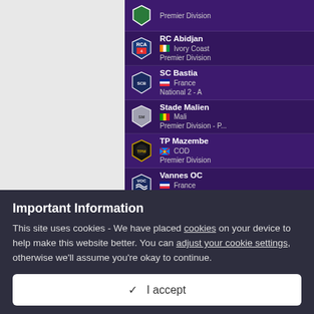[Figure (screenshot): Football Manager game interface showing a list of football clubs: RC Abidjan (Ivory Coast, Premier Division), SC Bastia (France, National 2 - A), Stade Malien (Mali, Premier Division - P...), TP Mazembe (COD, Premier Division), Vannes OC (France, National 2 - B) on a purple background]
Meet The Staff
I've been busy improving the backroom team, the new arrivals are
Important Information
This site uses cookies - We have placed cookies on your device to help make this website better. You can adjust your cookie settings, otherwise we'll assume you're okay to continue.
✓  I accept